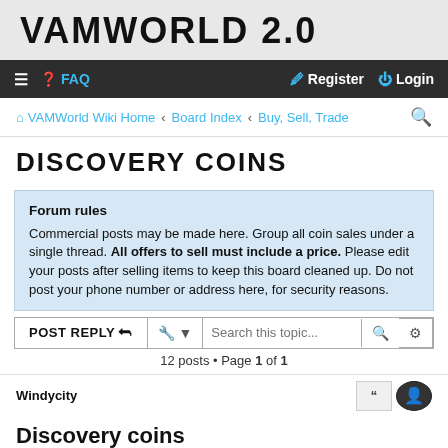VAMWORLD 2.0
≡ ❓ FAQ    Register   Login
VAMWorld Wiki Home ‹ Board Index ‹ Buy, Sell, Trade
DISCOVERY COINS
Forum rules
Commercial posts may be made here. Group all coin sales under a single thread. All offers to sell must include a price. Please edit your posts after selling items to keep this board cleaned up. Do not post your phone number or address here, for security reasons.
POST REPLY  [tools]  Search this topic...  [search] [settings]
12 posts • Page 1 of 1
Windycity
Discovery coins